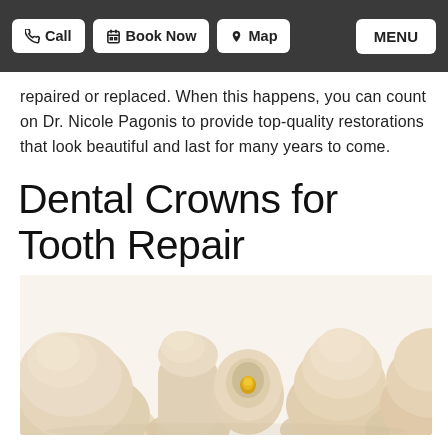Call | Book Now | Map | MENU
repaired or replaced. When this happens, you can count on Dr. Nicole Pagonis to provide top-quality restorations that look beautiful and last for many years to come.
Dental Crowns for Tooth Repair
[Figure (photo): Close-up photo of several dental crowns (tooth caps) on a white background, showing their off-white ceramic appearance with one crown displaying a gold/yellow inner post.]